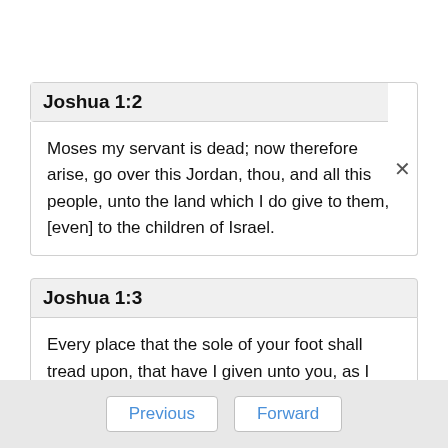Joshua 1:2
Moses my servant is dead; now therefore arise, go over this Jordan, thou, and all this people, unto the land which I do give to them, [even] to the children of Israel.
Joshua 1:3
Every place that the sole of your foot shall tread upon, that have I given unto you, as I said unto Moses.
Previous   Forward